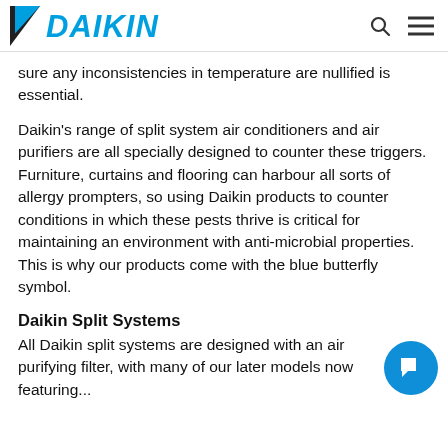DAIKIN
sure any inconsistencies in temperature are nullified is essential.
Daikin’s range of split system air conditioners and air purifiers are all specially designed to counter these triggers. Furniture, curtains and flooring can harbour all sorts of allergy prompters, so using Daikin products to counter conditions in which these pests thrive is critical for maintaining an environment with anti-microbial properties. This is why our products come with the blue butterfly symbol.
Daikin Split Systems
All Daikin split systems are designed with an air purifying filter, with many of our later models now featuring...